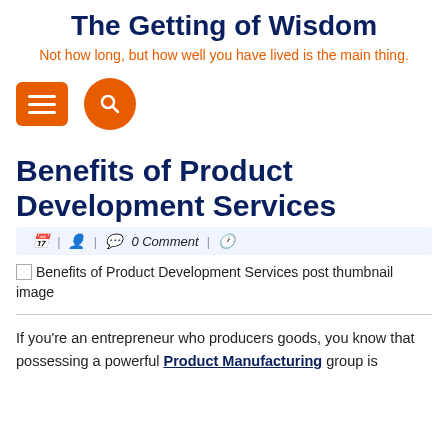The Getting of Wisdom
Not how long, but how well you have lived is the main thing.
[Figure (other): Orange square menu button with three horizontal white lines, and orange circle search button with white magnifying glass icon]
Benefits of Product Development Services
| | 0 Comment |
[Figure (photo): Benefits of Product Development Services post thumbnail image]
If you're an entrepreneur who producers goods, you know that possessing a powerful Product Manufacturing group is